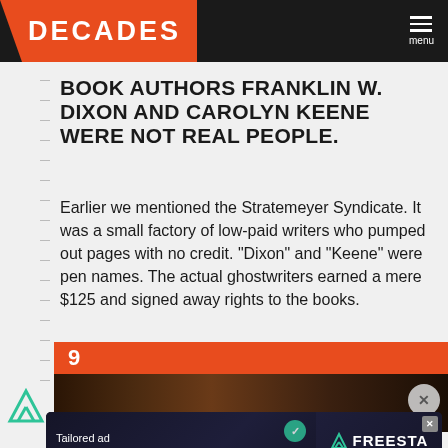DECADES | menu
BOOK AUTHORS FRANKLIN W. DIXON AND CAROLYN KEENE WERE NOT REAL PEOPLE.
Earlier we mentioned the Stratemeyer Syndicate. It was a small factory of low-paid writers who pumped out pages with no credit. "Dixon" and "Keene" were pen names. The actual ghostwriters earned a mere $125 and signed away rights to the books.
[Figure (infographic): Orange bar with number 9, followed by a dark photo strip of a person's hair/eye area with a close button]
[Figure (infographic): Advertisement banner: Tailored ad management solutions for every publisher - FREESTA with LEARN MORE button]